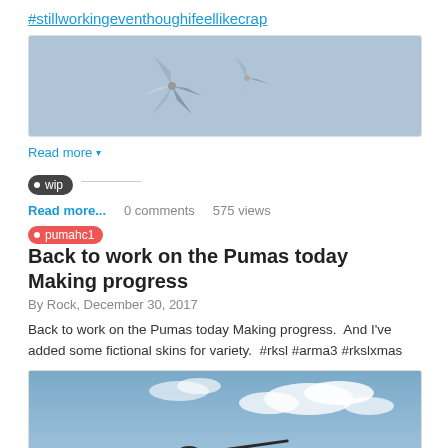#stillworkingeventhoughifeellikecrap
[Figure (photo): A partial view of 3D paper pinwheel/windmill models against a light blue-grey sky background]
Read more ▾
• wip ——
Read more...   0 comments   575 views
• pumahc1  Back to work on the Pumas today Making progress
By Rock, December 30, 2017
Back to work on the Pumas today Making progress.  And I've added some fictional skins for variety.  #rksl #arma3 #rkslxmas
[Figure (photo): A military helicopter silhouetted against a partly cloudy blue sky]
Read more ▾